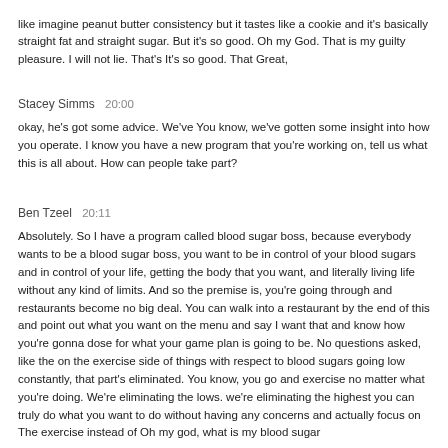like imagine peanut butter consistency but it tastes like a cookie and it's basically straight fat and straight sugar. But it's so good. Oh my God. That is my guilty pleasure. I will not lie. That's It's so good. That Great,
Stacey Simms  20:00
okay, he's got some advice. We've You know, we've gotten some insight into how you operate. I know you have a new program that you're working on, tell us what this is all about. How can people take part?
Ben Tzeel  20:11
Absolutely. So I have a program called blood sugar boss, because everybody wants to be a blood sugar boss, you want to be in control of your blood sugars and in control of your life, getting the body that you want, and literally living life without any kind of limits. And so the premise is, you're going through and restaurants become no big deal. You can walk into a restaurant by the end of this and point out what you want on the menu and say I want that and know how you're gonna dose for what your game plan is going to be. No questions asked, like the on the exercise side of things with respect to blood sugars going low constantly, that part's eliminated. You know, you go and exercise no matter what you're doing. We're eliminating the lows. we're eliminating the highest you can truly do what you want to do without having any concerns and actually focus on The exercise instead of Oh my god, what is my blood sugar